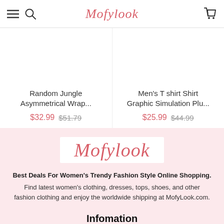Mofylook
Random Jungle Asymmetrical Wrap...
$32.99  $51.79
Men's T shirt Shirt Graphic Simulation Plu...
$25.99  $44.99
[Figure (logo): Mofylook brand logo in pink/red italic script on white background]
Best Deals For Women's Trendy Fashion Style Online Shopping.
Find latest women's clothing, dresses, tops, shoes, and other fashion clothing and enjoy the worldwide shipping at MofyLook.com.
Infomation
About Us